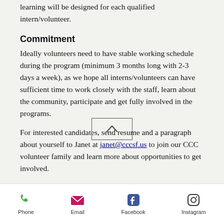learning will be designed for each qualified intern/volunteer.
Commitment
Ideally volunteers need to have stable working schedule during the program (minimum 3 months long with 2-3 days a week), as we hope all interns/volunteers can have sufficient time to work closely with the staff, learn about the community, participate and get fully involved in the programs.
For interested candidates, send resume and a paragraph about yourself to Janet at janet@cccsf.us to join our CCC volunteer family and learn more about opportunities to get involved.
Phone  Email  Facebook  Instagram